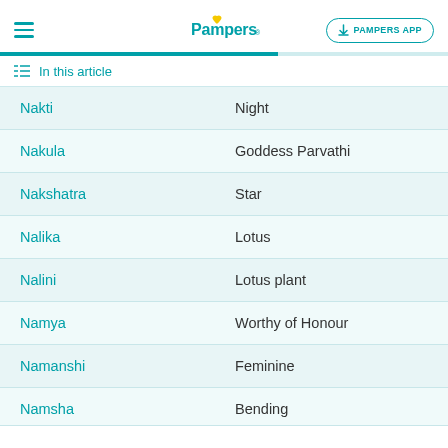Pampers — PAMPERS APP
In this article
| Name | Meaning |
| --- | --- |
| Nakti | Night |
| Nakula | Goddess Parvathi |
| Nakshatra | Star |
| Nalika | Lotus |
| Nalini | Lotus plant |
| Namya | Worthy of Honour |
| Namanshi | Feminine |
| Namsha | Bending |